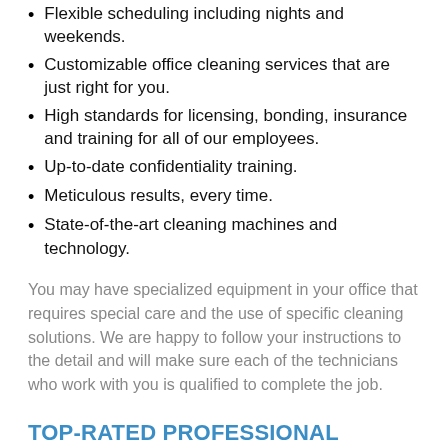Flexible scheduling including nights and weekends.
Customizable office cleaning services that are just right for you.
High standards for licensing, bonding, insurance and training for all of our employees.
Up-to-date confidentiality training.
Meticulous results, every time.
State-of-the-art cleaning machines and technology.
You may have specialized equipment in your office that requires special care and the use of specific cleaning solutions. We are happy to follow your instructions to the detail and will make sure each of the technicians who work with you is qualified to complete the job.
TOP-RATED PROFESSIONAL CLEANING SERVICES